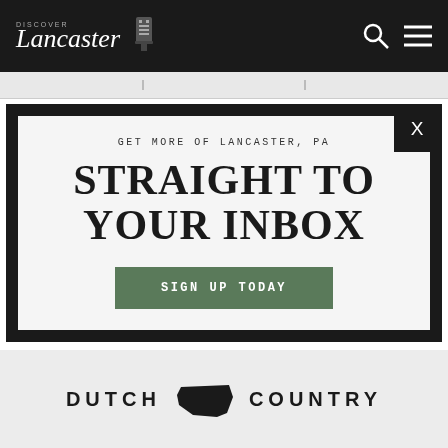Discover Lancaster
GET MORE OF LANCASTER, PA
STRAIGHT TO YOUR INBOX
SIGN UP TODAY
DUTCH COUNTRY